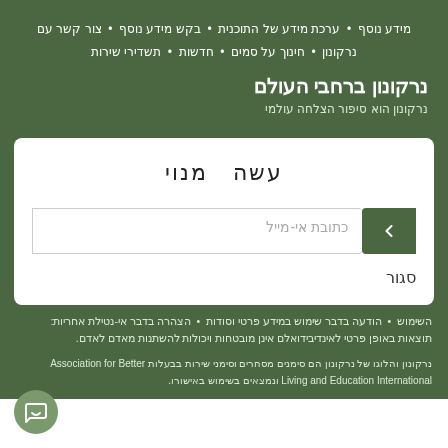מידע נוסף • ערכת מידע של התוכנית • בקש מידע נוסף • צור קשר עם נרקונון • חינוך על סמים • חדשות • תשדירי שירות
נרקונון ברחבי העולם
נרקונון הוא סיפור הצלחה עולמי
עשה מנוי
כתובת אי-מייל
סגור
השימוש • הודעה בדבר שימוש במידע פרטי וסודות • הצהרה בדבר אי-נטילת אחריות: תוצאות באופן פרטי לאינדיבידואלם אינן מובטחות ויכולות להשתנות מאדם לאדם.
נרקונון והלוגו של נרקונון הם סימנים מסחרים וסימני שירות בבעלות Association for Better Living and Education International ונמצאים בשימוש באישורו.